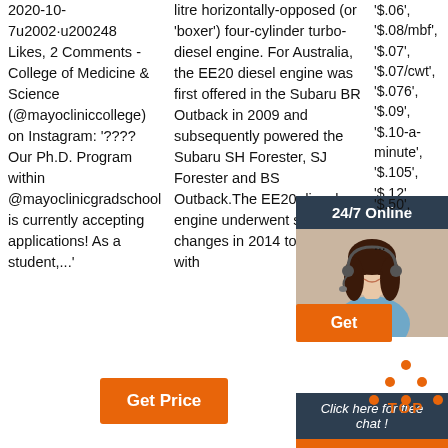2020-10-7u2002·u200248 Likes, 2 Comments - College of Medicine & Science (@mayocliniccollege) on Instagram: '???? Our Ph.D. Program within @mayoclinicgradschool is currently accepting applications! As a student,...'
litre horizontally-opposed (or 'boxer') four-cylinder turbo-diesel engine. For Australia, the EE20 diesel engine was first offered in the Subaru BR Outback in 2009 and subsequently powered the Subaru SH Forester, SJ Forester and BS Outback.The EE20 diesel engine underwent substantial changes in 2014 to comply with
'$.06', '$.08/mbf', '$.07', '$.07/cwt', '$.076', '$.09', '$.10-a-minute', '$.105', '$.12', '$.30', '$.50', ...
[Figure (infographic): 24/7 Online chat support sidebar with woman wearing headset, orange Get button, 'Click here for free chat!' text, and orange QUOTATION button]
[Figure (infographic): Orange TOP button with orange dot triangle/arrow pointing up]
Get Price (orange button)
Get (orange button in sidebar)